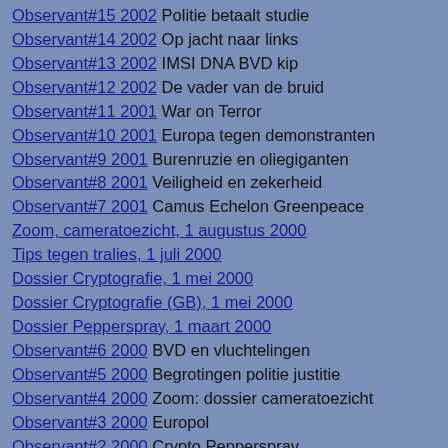Observant#15 2002 Politie betaalt studie
Observant#14 2002 Op jacht naar links
Observant#13 2002 IMSI DNA BVD kip
Observant#12 2002 De vader van de bruid
Observant#11 2001 War on Terror
Observant#10 2001 Europa tegen demonstranten
Observant#9 2001 Burenruzie en oliegiganten
Observant#8 2001 Veiligheid en zekerheid
Observant#7 2001 Camus Echelon Greenpeace
Zoom, cameratoezicht, 1 augustus 2000
Tips tegen tralies, 1 juli 2000
Dossier Cryptografie, 1 mei 2000
Dossier Cryptografie (GB), 1 mei 2000
Dossier Pepperspray, 1 maart 2000
Observant#6 2000 BVD en vluchtelingen
Observant#5 2000 Begrotingen politie justitie
Observant#4 2000 Zoom: dossier cameratoezicht
Observant#3 2000 Europol
Observant#2 2000 Crypto Pepperspray